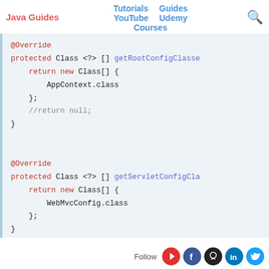Java Guides | Tutorials | Guides | YouTube | Udemy | Courses
[Figure (screenshot): Java code block showing two @Override methods: getRootConfigClasses returning AppContext.class and getServletConfigClasses returning WebMvcConfig.class]
Follow [YouTube] [Facebook] [GitHub] [LinkedIn] [Twitter]